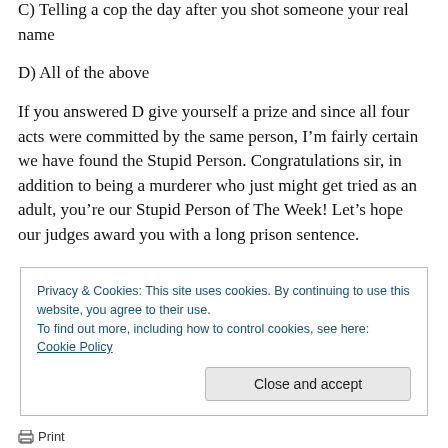C) Telling a cop the day after you shot someone your real name
D) All of the above
If you answered D give yourself a prize and since all four acts were committed by the same person, I’m fairly certain we have found the Stupid Person. Congratulations sir, in addition to being a murderer who just might get tried as an adult, you’re our Stupid Person of The Week! Let’s hope our judges award you with a long prison sentence.
Privacy & Cookies: This site uses cookies. By continuing to use this website, you agree to their use.
To find out more, including how to control cookies, see here: Cookie Policy